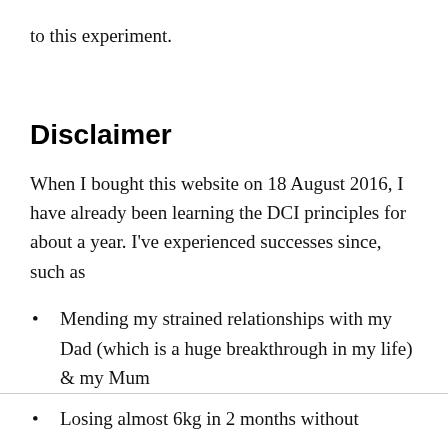to this experiment.
Disclaimer
When I bought this website on 18 August 2016, I have already been learning the DCI principles for about a year. I've experienced successes since, such as
Mending my strained relationships with my Dad (which is a huge breakthrough in my life) & my Mum
Losing almost 6kg in 2 months without